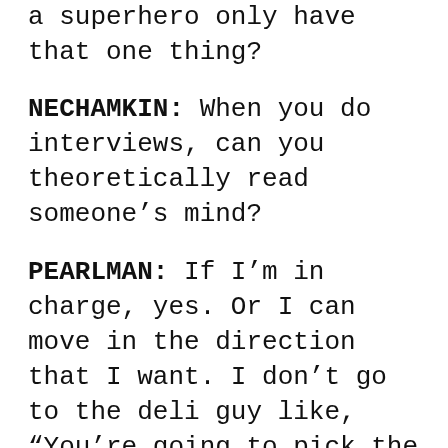a superhero only have that one thing?
NECHAMKIN: When you do interviews, can you theoretically read someone's mind?
PEARLMAN: If I'm in charge, yes. Or I can move in the direction that I want. I don't go to the deli guy like, “You’re going to pick the pastrami for me today, and I don’t want the deli mustard, I want this.” It’s like a director who frames a shot. In this case, when I perform or in any interaction, I’m usually the person who is the director, or I position myself in that way.